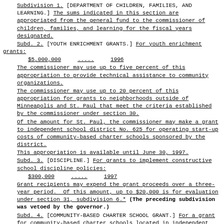Subdivision 1. [DEPARTMENT OF CHILDREN, FAMILIES, AND LEARNING.] The sums indicated in this section are appropriated from the general fund to the commissioner of children, families, and learning for the fiscal years designated.
Subd. 2. [YOUTH ENRICHMENT GRANTS.] For youth enrichment grants:
$5,000,000     .....     1996
The commissioner may use up to five percent of this appropriation to provide technical assistance to community organizations.
The commissioner may use up to 20 percent of this appropriation for grants to neighborhoods outside of Minneapolis and St. Paul that meet the criteria established by the commissioner under section 30.
Of the amount for St. Paul, the commissioner may make a grant to independent school district No. 625 for operating start-up costs of community-based charter schools sponsored by the district.
This appropriation is available until June 30, 1997.
Subd. 3. [DISCIPLINE.] For grants to implement constructive school discipline policies:
$300,000     .....     1997
Grant recipients may expend the grant proceeds over a three-year period. Of this amount, up to $20,000 is for evaluation under section 31, subdivision 6.* (The preceding subdivision was vetoed by the governor.)
Subd. 4. [COMMUNITY-BASED CHARTER SCHOOL GRANT.] For a grant for community-based charter schools located in independent school districts...